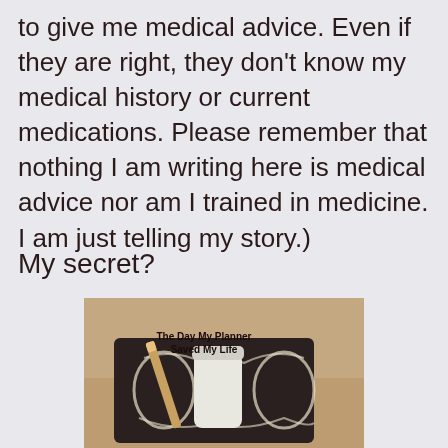to give me medical advice. Even if they are right, they don't know my medical history or current medications. Please remember that nothing I am writing here is medical advice nor am I trained in medicine. I am just telling my story.)
My secret?
[Figure (photo): Photo of a decorative planner/organizer with white ornate design, a white pill bottle, and a pencil resting on top. Text overlay reads 'The Day My Planner Saved My Life'.]